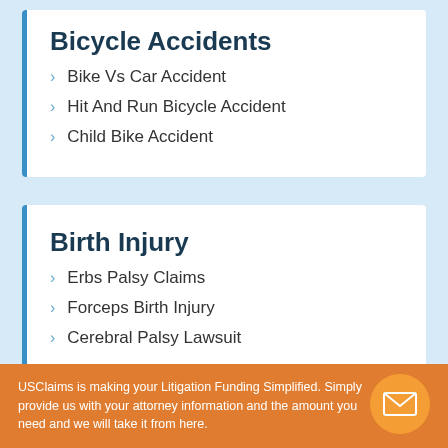Bicycle Accidents
Bike Vs Car Accident
Hit And Run Bicycle Accident
Child Bike Accident
Birth Injury
Erbs Palsy Claims
Forceps Birth Injury
Cerebral Palsy Lawsuit
USClaims is making your Litigation Funding Simplified. Simply provide us with your attorney information and the amount you need and we will take it from here.